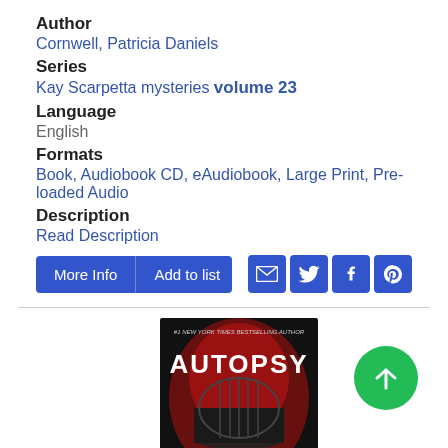Author
Cornwell, Patricia Daniels
Series
Kay Scarpetta mysteries volume 23
Language
English
Formats
Book, Audiobook CD, eAudiobook, Large Print, Pre-loaded Audio
Description
Read Description
[Figure (screenshot): Buttons: More Info | Add to list, social share icons (email, Twitter, Facebook, Pinterest)]
[Figure (photo): Book cover of Autopsy by Patricia Cornwell, a Scarpetta novel. Dark cover with red and black background showing a domed building. #1 New York Times Bestselling Author text at top.]
[Figure (other): Green circular button with upward arrow (scroll to top)]